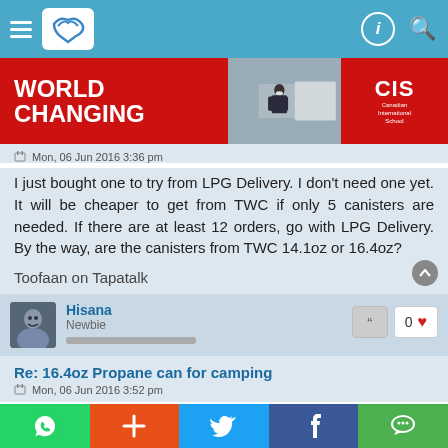[Figure (screenshot): Top navigation bar with hamburger menu, Tapatalk logo, notification icon and search icon on blue background]
[Figure (photo): Advertisement banner: red left section with WORLD CHANGING text, center photo of masked person at board, red right section with CIS Canadian International School logo]
Mon, 06 Jun 2016 3:36 pm
I just bought one to try from LPG Delivery. I don't need one yet. It will be cheaper to get from TWC if only 5 canisters are needed. If there are at least 12 orders, go with LPG Delivery. By the way, are the canisters from TWC 14.1oz or 16.4oz?
Toofaan on Tapatalk
Hisana
Newbie
Re: 16.4oz Propane can for camping
Mon, 06 Jun 2016 3:52 pm
[Figure (screenshot): Bottom social sharing toolbar with WhatsApp (green), plus/add (orange), Twitter (blue), Facebook (dark blue), WeChat (green) buttons]